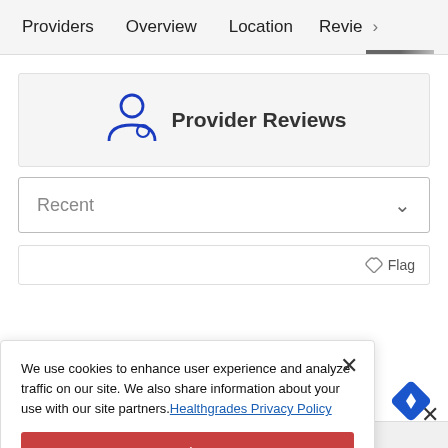Providers  Overview  Location  Revie>
[Figure (illustration): Blue outline icon of a doctor/provider person with stethoscope circle]
Provider Reviews
Recent
Flag
We use cookies to enhance user experience and analyze traffic on our site. We also share information about your use with our site partners. Healthgrades Privacy Policy
Continue
Access my Privacy Preferences
her 10 years. Get shorted off to a nurse so